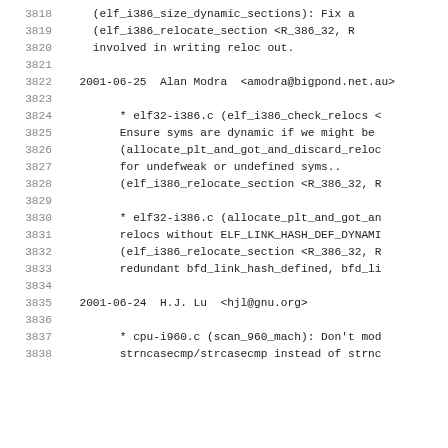3818    (elf_i386_size_dynamic_sections): Fix a
3819    (elf_i386_relocate_section <R_386_32, R
3820    involved in writing reloc out.
3821
3822  2001-06-25  Alan Modra  <amodra@bigpond.net.au>
3823
3824        * elf32-i386.c (elf_i386_check_relocs <
3825        Ensure syms are dynamic if we might be
3826        (allocate_plt_and_got_and_discard_reloc
3827        for undefweak or undefined syms..
3828        (elf_i386_relocate_section <R_386_32, R
3829
3830        * elf32-i386.c (allocate_plt_and_got_an
3831        relocs without ELF_LINK_HASH_DEF_DYNAMI
3832        (elf_i386_relocate_section <R_386_32, R
3833        redundant bfd_link_hash_defined, bfd_li
3834
3835  2001-06-24  H.J. Lu  <hjl@gnu.org>
3836
3837        * cpu-i960.c (scan_960_mach): Don't mod
3838        strncasecmp/strcasecmp instead of strnc